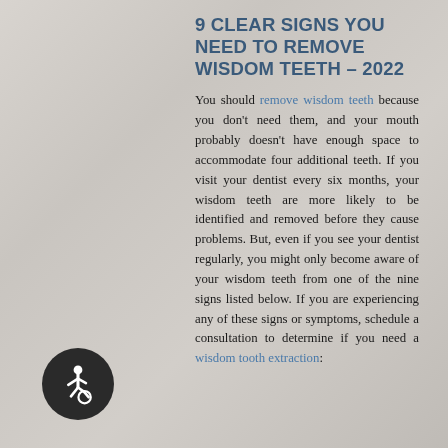9 CLEAR SIGNS YOU NEED TO REMOVE WISDOM TEETH – 2022
You should remove wisdom teeth because you don't need them, and your mouth probably doesn't have enough space to accommodate four additional teeth. If you visit your dentist every six months, your wisdom teeth are more likely to be identified and removed before they cause problems. But, even if you see your dentist regularly, you might only become aware of your wisdom teeth from one of the nine signs listed below. If you are experiencing any of these signs or symptoms, schedule a consultation to determine if you need a wisdom tooth extraction:
[Figure (illustration): Accessibility icon — wheelchair symbol in white on dark circular background]